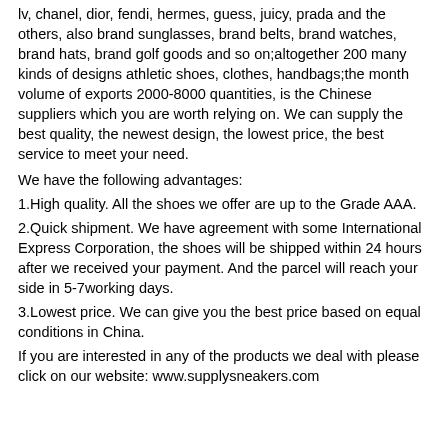lv, chanel, dior, fendi, hermes, guess, juicy, prada and the others, also brand sunglasses, brand belts, brand watches, brand hats, brand golf goods and so on;altogether 200 many kinds of designs athletic shoes, clothes, handbags;the month volume of exports 2000-8000 quantities, is the Chinese suppliers which you are worth relying on. We can supply the best quality, the newest design, the lowest price, the best service to meet your need.
We have the following advantages:
1.High quality. All the shoes we offer are up to the Grade AAA.
2.Quick shipment. We have agreement with some International Express Corporation, the shoes will be shipped within 24 hours after we received your payment. And the parcel will reach your side in 5-7working days.
3.Lowest price. We can give you the best price based on equal conditions in China.
If you are interested in any of the products we deal with please click on our website: www.supplysneakers.com